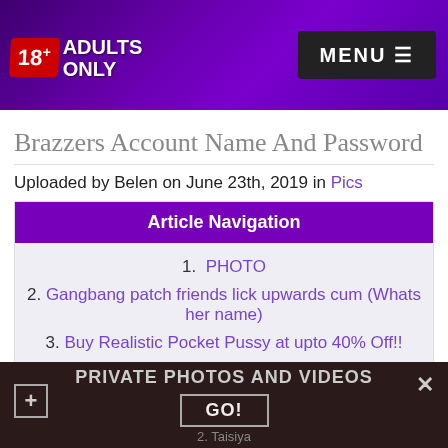18+ ADULTS ONLY | MENU
Brazzers Account Name And Password
Uploaded by Belen on June 23th, 2019 in Pics
Article Navigation
1. PHOTO
2. Gangbang patch friends lick upwards cum (Whats her name)
3. Buy Realistic Pocket Pussy at upto 40% Off!!
4. +5 photos
5. Comments (4)
PRIVATE PHOTOS AND VIDEOS | GO!